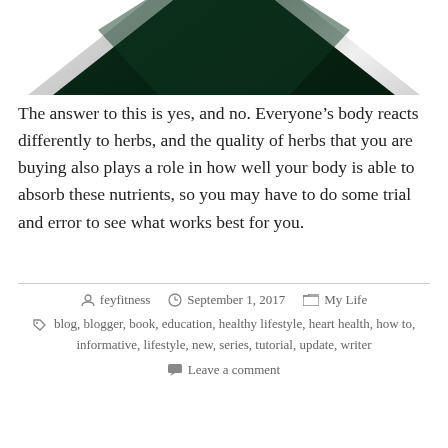[Figure (illustration): Partial view of a diamond/shield shaped dark green logo or icon with metallic silver border, cropped at the top of the page]
The answer to this is yes, and no. Everyone's body reacts differently to herbs, and the quality of herbs that you are buying also plays a role in how well your body is able to absorb these nutrients, so you may have to do some trial and error to see what works best for you.
feyfitness  September 1, 2017  My Life  blog, blogger, book, education, healthy lifestyle, heart health, how to, informative, lifestyle, new, series, tutorial, update, writer  Leave a comment